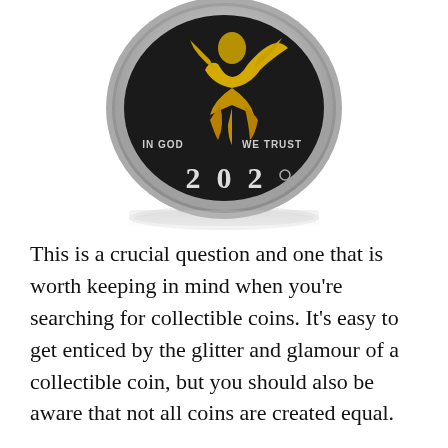[Figure (photo): A collectible coin photographed from above, showing a silver coin with gold-colored eagle/figure on it, inscribed with 'IN GOD WE TRUST' and the year '2020', with a reflection below.]
This is a crucial question and one that is worth keeping in mind when you're searching for collectible coins. It's easy to get enticed by the glitter and glamour of a collectible coin, but you should also be aware that not all coins are created equal.
Certain coins are made from only copper and copper-plated steel while others are made from pure gold or silver. When purchasing collectible coins it is important to ensure that